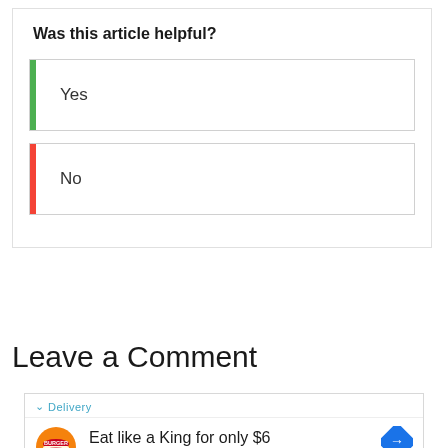Was this article helpful?
Yes
No
Leave a Comment
[Figure (other): Burger King advertisement showing logo, text 'Eat like a King for only $6', subtitle 'Burger King', with navigation icon and delivery label]